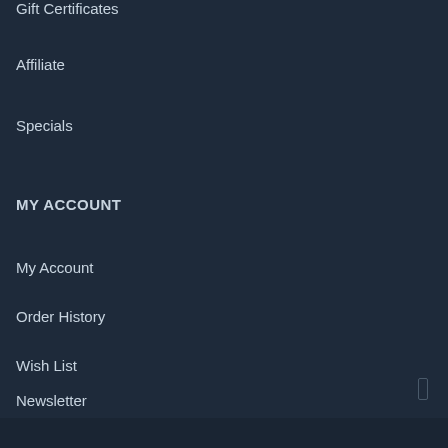Gift Certificates
Affiliate
Specials
MY ACCOUNT
My Account
Order History
Wish List
Newsletter